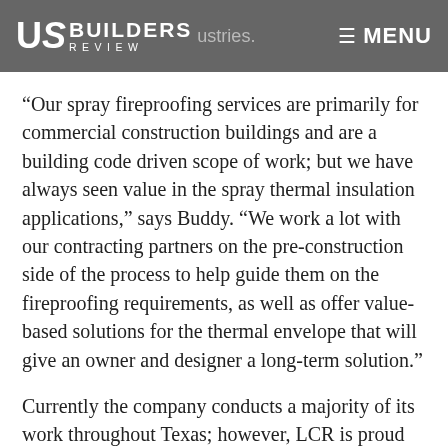US Builders Review — ustries. MENU
“Our spray fireproofing services are primarily for commercial construction buildings and are a building code driven scope of work; but we have always seen value in the spray thermal insulation applications,” says Buddy. “We work a lot with our contracting partners on the pre-construction side of the process to help guide them on the fireproofing requirements, as well as offer value-based solutions for the thermal envelope that will give an owner and designer a long-term solution.”
Currently the company conducts a majority of its work throughout Texas; however, LCR is proud of